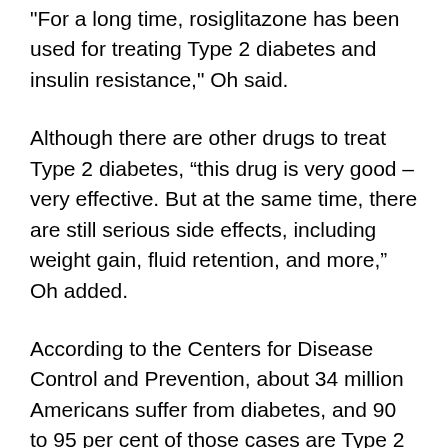"For a long time, rosiglitazone has been used for treating Type 2 diabetes and insulin resistance," Oh said.
Although there are other drugs to treat Type 2 diabetes, “this drug is very good – very effective. But at the same time, there are still serious side effects, including weight gain, fluid retention, and more,” Oh added.
According to the Centers for Disease Control and Prevention, about 34 million Americans suffer from diabetes, and 90 to 95 per cent of those cases are Type 2 diabetes. The disease can lead to kidney or heart disease and stroke and can be fatal.
The current study found that the positive effects of